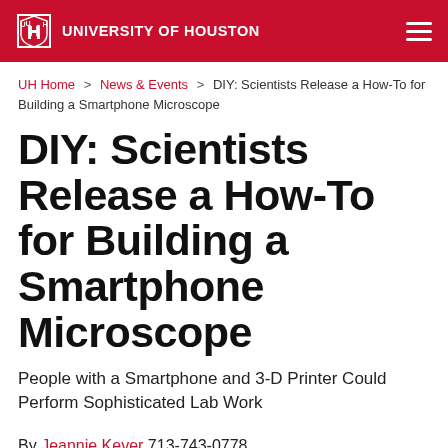UNIVERSITY OF HOUSTON
UH Home > News & Events > DIY: Scientists Release a How-To for Building a Smartphone Microscope
DIY: Scientists Release a How-To for Building a Smartphone Microscope
People with a Smartphone and 3-D Printer Could Perform Sophisticated Lab Work
By Jeannie Kever 713-743-0778